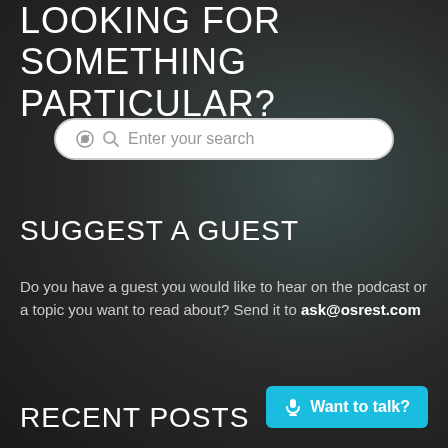LOOKING FOR SOMETHING PARTICULAR?
[Figure (other): Search input box with magnifying glass icon and placeholder text 'Enter your search']
SUGGEST A GUEST
Do you have a guest you would like to hear on the podcast or a topic you want to read about? Send it to ask@osrest.com
RECENT POSTS
[Figure (other): Cyan button with microphone icon and text 'Want to talk?']